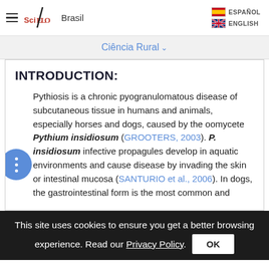SciELO Brasil — ESPAÑOL / ENGLISH
Ciência Rural
INTRODUCTION:
Pythiosis is a chronic pyogranulomatous disease of subcutaneous tissue in humans and animals, especially horses and dogs, caused by the oomycete Pythium insidiosum (GROOTERS, 2003). P. insidiosum infective propagules develop in aquatic environments and cause disease by invading the skin or intestinal mucosa (SANTURIO et al., 2006). In dogs, the gastrointestinal form is the most common and
This site uses cookies to ensure you get a better browsing experience. Read our Privacy Policy.